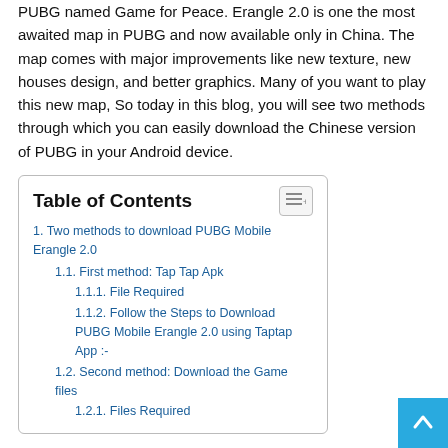PUBG named Game for Peace. Erangle 2.0 is one the most awaited map in PUBG and now available only in China. The map comes with major improvements like new texture, new houses design, and better graphics. Many of you want to play this new map, So today in this blog, you will see two methods through which you can easily download the Chinese version of PUBG in your Android device.
| Table of Contents |
| 1. Two methods to download PUBG Mobile Erangle 2.0 |
| 1.1. First method: Tap Tap Apk |
| 1.1.1. File Required |
| 1.1.2. Follow the Steps to Download PUBG Mobile Erangle 2.0 using Taptap App :- |
| 1.2. Second method: Download the Game files |
| 1.2.1. Files Required |